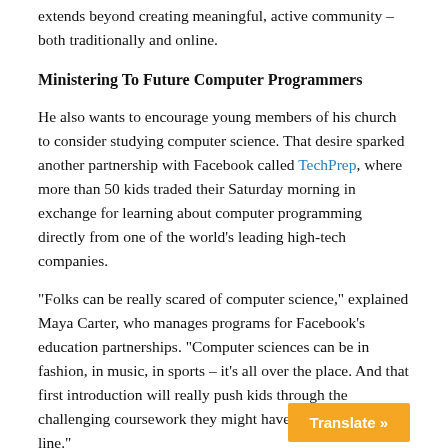extends beyond creating meaningful, active community – both traditionally and online.
Ministering To Future Computer Programmers
He also wants to encourage young members of his church to consider studying computer science. That desire sparked another partnership with Facebook called TechPrep, where more than 50 kids traded their Saturday morning in exchange for learning about computer programming directly from one of the world's leading high-tech companies.
“Folks can be really scared of computer science,” explained Maya Carter, who manages programs for Facebook’s education partnerships. “Computer sciences can be in fashion, in music, in sports – it’s all over the place. And that first introduction will really push kids through the challenging coursework they might have to do down the line.”